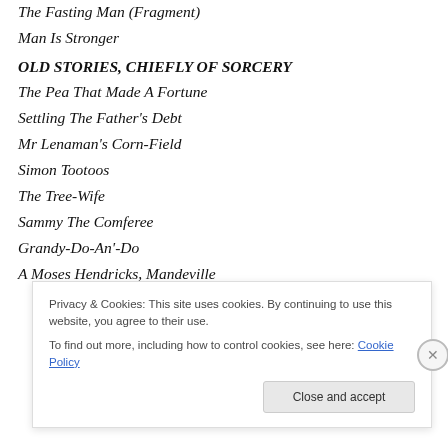The Fasting Man (Fragment)
Man Is Stronger
OLD STORIES, CHIEFLY OF SORCERY
The Pea That Made A Fortune
Settling The Father's Debt
Mr Lenaman's Corn-Field
Simon Tootoos
The Tree-Wife
Sammy The Comferee
Grandy-Do-An'-Do
A Moses Hendricks, Mandeville
Privacy & Cookies: This site uses cookies. By continuing to use this website, you agree to their use.
To find out more, including how to control cookies, see here: Cookie Policy